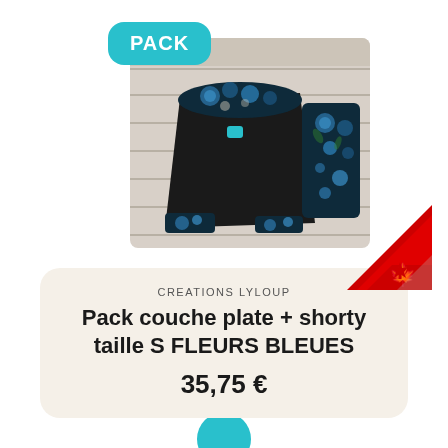PACK
[Figure (photo): Black cloth diaper with blue floral pattern and matching folded insert on a white wood background]
[Figure (illustration): Canadian flag corner peel/sticker in the bottom-right corner of the product image]
CREATIONS LYLOUP
Pack couche plate + shorty taille S FLEURS BLEUES
35,75 €